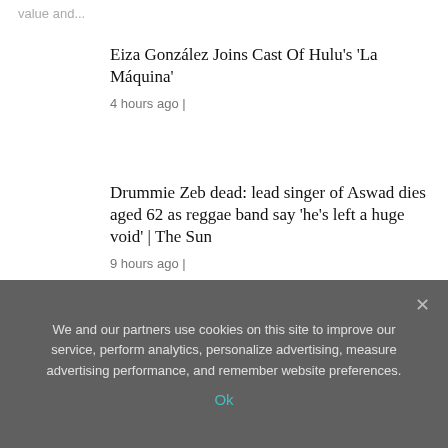value and...
Eiza González Joins Cast Of Hulu's 'La Máquina'
4 hours ago |
Drummie Zeb dead: lead singer of Aswad dies aged 62 as reggae band say 'he's left a huge void' | The Sun
9 hours ago |
Fall REVIEW: An awesome, vertigo inducing spectacle
1 day ago |
We and our partners use cookies on this site to improve our service, perform analytics, personalize advertising, measure advertising performance, and remember website preferences.
Ok